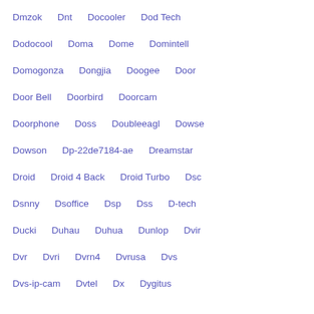Dmzok   Dnt   Docooler   Dod Tech
Dodocool   Doma   Dome   Domintell
Domogonza   Dongjia   Doogee   Door
Door Bell   Doorbird   Doorcam
Doorphone   Doss   Doubleeagl   Dowse
Dowson   Dp-22de7184-ae   Dreamstar
Droid   Droid 4 Back   Droid Turbo   Dsc
Dsnny   Dsoffice   Dsp   Dss   D-tech
Ducki   Duhau   Duhua   Dunlop   Dvir
Dvr   Dvri   Dvrn4   Dvrusa   Dvs
Dvs-ip-cam   Dvtel   Dx   Dygitus